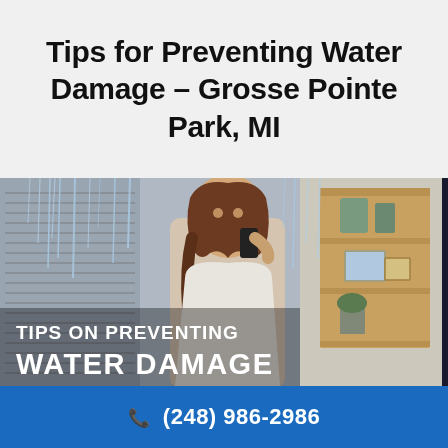Tips for Preventing Water Damage - Grosse Pointe Park, MI
[Figure (photo): Woman on phone looking up at water leaking from ceiling in a living room interior, with text overlay reading TIPS ON PREVENTING WATER DAMAGE]
(248) 986-2986